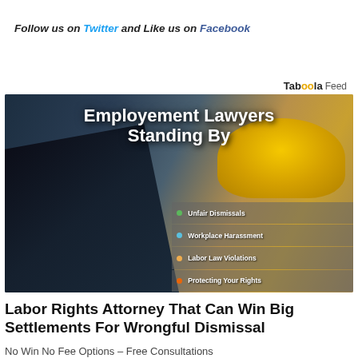Follow us on Twitter and Like us on Facebook
[Figure (photo): Advertisement image for employment lawyers featuring a gavel, yellow hard hat, bold white text reading 'Employement Lawyers Standing By', and a panel listing: Unfair Dismissals, Workplace Harassment, Labor Law Violations, Protecting Your Rights]
Labor Rights Attorney That Can Win Big Settlements For Wrongful Dismissal
No Win No Fee Options – Free Consultations